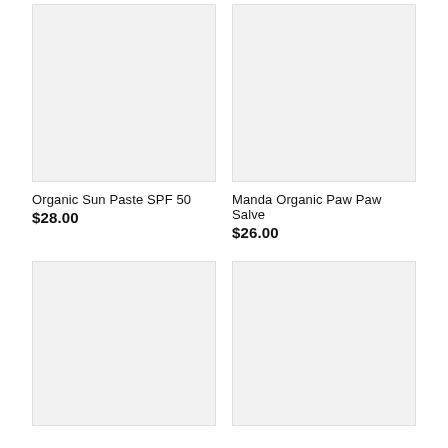[Figure (photo): Product image placeholder for Organic Sun Paste SPF 50 - light gray rectangle]
Organic Sun Paste SPF 50
$28.00
[Figure (photo): Product image placeholder for Manda Organic Paw Paw Salve - light gray rectangle]
Manda Organic Paw Paw Salve
$26.00
[Figure (photo): Product image placeholder - light gray rectangle, bottom left]
[Figure (photo): Product image placeholder - light gray rectangle, bottom right]